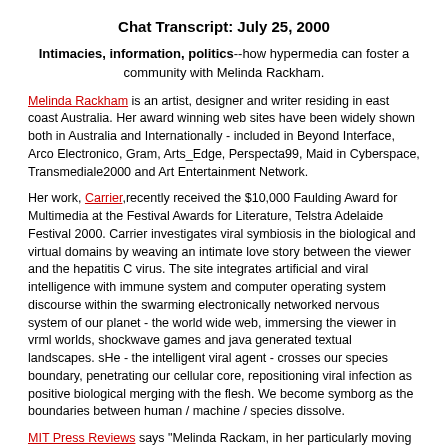Chat Transcript: July 25, 2000
Intimacies, information, politics--how hypermedia can foster a community with Melinda Rackham.
Melinda Rackham is an artist, designer and writer residing in east coast Australia. Her award winning web sites have been widely shown both in Australia and Internationally - included in Beyond Interface, Arco Electronico, Gram, Arts_Edge, Perspecta99, Maid in Cyberspace, Transmediale2000 and Art Entertainment Network.
Her work, Carrier,recently received the $10,000 Faulding Award for Multimedia at the Festival Awards for Literature, Telstra Adelaide Festival 2000. Carrier investigates viral symbiosis in the biological and virtual domains by weaving an intimate love story between the viewer and the hepatitis C virus. The site integrates artificial and viral intelligence with immune system and computer operating system discourse within the swarming electronically networked nervous system of our planet - the world wide web, immersing the viewer in vrml worlds, shockwave games and java generated textual landscapes. sHe - the intelligent viral agent - crosses our species boundary, penetrating our cellular core, repositioning viral infection as positive biological merging with the flesh. We become symborg as the boundaries between human / machine / species dissolve.
MIT Press Reviews says "Melinda Rackam, in her particularly moving and beautifully composed web artwork, "Carrier" repositioned the hepatitis C viral infection as a positive biological merging with the flesh. She presented this merger as a love story between the invading virus and herself, its host.